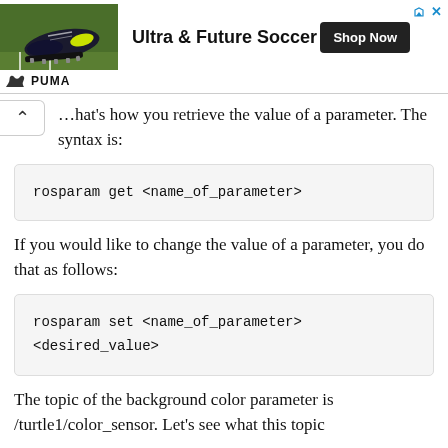[Figure (other): Advertisement banner for PUMA Ultra & Future Soccer shoes with Shop Now button]
...hat's how you retrieve the value of a parameter. The syntax is:
If you would like to change the value of a parameter, you do that as follows:
The topic of the background color parameter is /turtle1/color_sensor. Let's see what this topic...